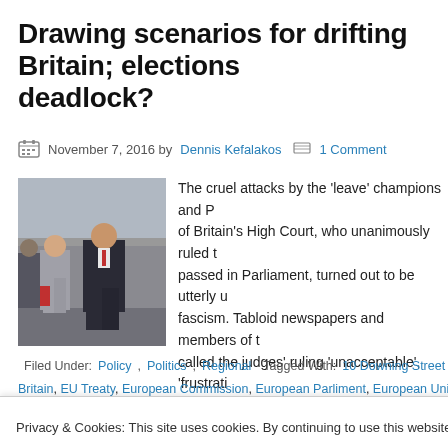Drawing scenarios for drifting Britain; elections deadlock?
November 7, 2016 by Dennis Kefalakos   1 Comment
[Figure (photo): Two people walking outdoors, one in a grey suit and one in a dark suit]
The cruel attacks by the 'leave' champions and P... of Britain's High Court, who unanimously ruled t... passed in Parliament, turned out to be utterly u... fascism. Tabloid newspapers and members of t... called the judges' ruling 'unacceptable', 'frustrati...
Filed Under: Policy, Politics, Regional   Tagged With: 10 Downing Street, A... Britain, EU Treaty, European Commission, European Parliment, European Union, G...
Privacy & Cookies: This site uses cookies. By continuing to use this website, you agree to their use.
To find out more, including how to control cookies, see here: Cookie Policy
pandora's box for the UK